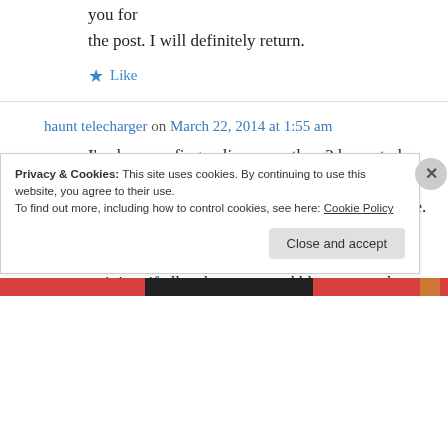you for the post. I will definitely return.
★ Like
haunt telecharger on March 22, 2014 at 1:55 am
I've been surfing online more than 3 hours today, yet I never found any interesting article like yours. It's pretty worth enough for me. In my opinion, if all web owners and bloggers made
Privacy & Cookies: This site uses cookies. By continuing to use this website, you agree to their use. To find out more, including how to control cookies, see here: Cookie Policy
Close and accept